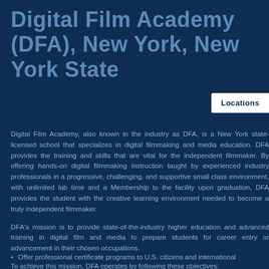Digital Film Academy (DFA), New York, New York State
Locations
Digital Film Academy, also known in the industry as DFA, is a New York state-licensed school that specializes in digital filmmaking and media education. DFA provides the training and skills that are vital for the independent filmmaker. By offering hands-on digital filmmaking instruction taught by experienced industry professionals in a progressive, challenging, and supportive small class environment, with unlimited lab time and a Membership to the facility upon graduation, DFA provides the student with the creative learning environment needed to become a truly independent filmmaker.
DFA's mission is to provide state-of-the-industry higher education and advanced training in digital film and media to prepare students for career entry or advancement in their chosen occupations.
To achieve this mission, DFA operates by following these objectives:
Offer professional certificate programs to U.S. citizens and international